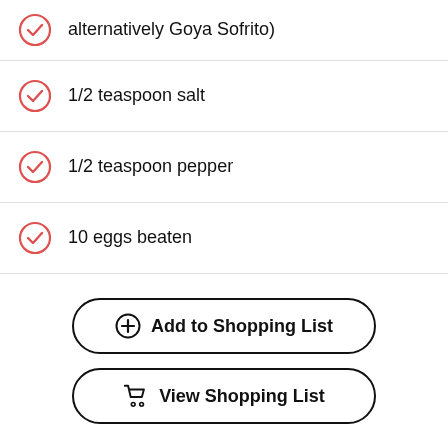alternatively Goya Sofrito)
1/2 teaspoon salt
1/2 teaspoon pepper
10 eggs beaten
1 1/2 cups chopped spinach
Crusty bread, for serving
Add to Shopping List
View Shopping List